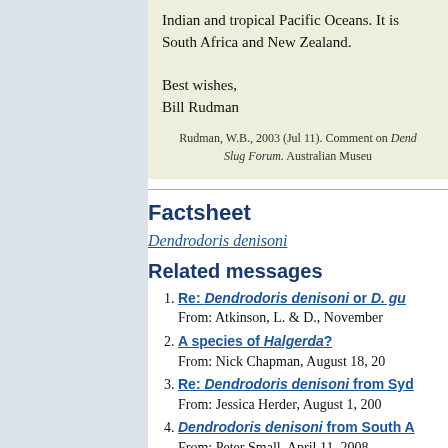Indian and tropical Pacific Oceans. It is South Africa and New Zealand.
Best wishes,
Bill Rudman
Rudman, W.B., 2003 (Jul 11). Comment on Dend... Slug Forum. Australian Museu...
Factsheet
Dendrodoris denisoni
Related messages
Re: Dendrodoris denisoni or D. gu... From: Atkinson, L. & D., November...
A species of Halgerda? From: Nick Chapman, August 18, 20...
Re: Dendrodoris denisoni from Syd... From: Jessica Herder, August 1, 200...
Dendrodoris denisoni from South A... From: Peter Small, April 11, 2008...